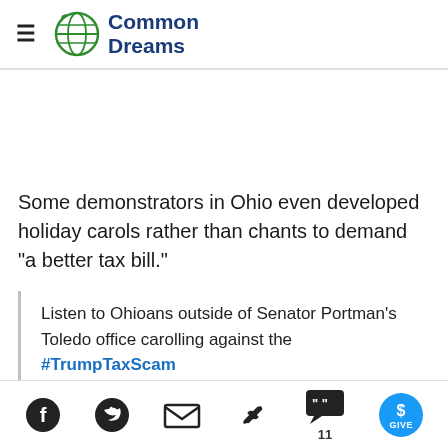Common Dreams
Some demonstrators in Ohio even developed holiday carols rather than chants to demand "a better tax bill."
Listen to Ohioans outside of Senator Portman's Toledo office carolling against the #TrumpTaxScam
Social sharing icons: Facebook, Twitter, Email, Link, Comments (11), Give